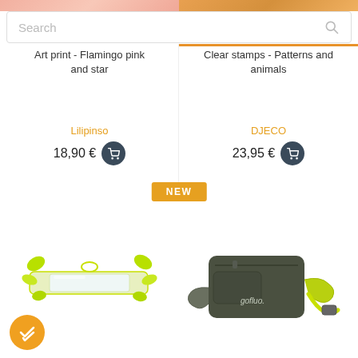[Figure (screenshot): Top partial product images strip showing flamingo pink art print (left) and patterns/animals clear stamps (right)]
Search
Art print - Flamingo pink and star
Clear stamps - Patterns and animals
Lilipinso
18,90 €
DJECO
23,95 €
NEW
[Figure (photo): Fluorescent yellow-green light/hair clip accessory product on white background]
[Figure (photo): Dark olive green gofluo brand fanny pack/belt bag with yellow-green strap on white background]